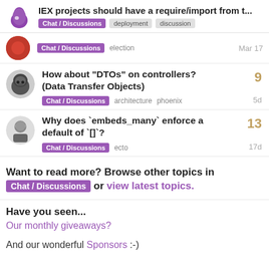IEX projects should have a require/import from t...  Chat / Discussions  deployment  discussion
Chat / Discussions  election  Mar 17
How about “DTOs” on controllers? (Data Transfer Objects)  9  Chat / Discussions  architecture  phoenix  5d
Why does `embeds_many` enforce a default of `[]`?  13  Chat / Discussions  ecto  17d
Want to read more? Browse other topics in Chat / Discussions or view latest topics.
Have you seen...
Our monthly giveaways?
And our wonderful Sponsors :-)